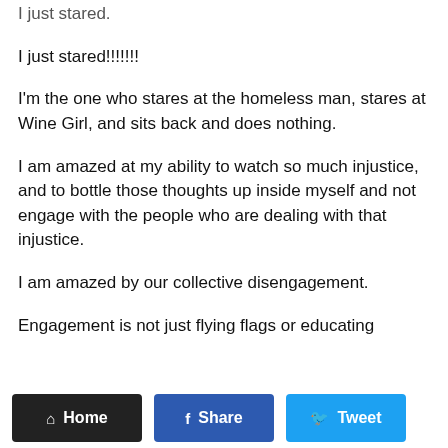I just stared.
I just stared!!!!!!!
I'm the one who stares at the homeless man, stares at Wine Girl, and sits back and does nothing.
I am amazed at my ability to watch so much injustice, and to bottle those thoughts up inside myself and not engage with the people who are dealing with that injustice.
I am amazed by our collective disengagement.
Engagement is not just flying flags or educating
Home  Share  Tweet